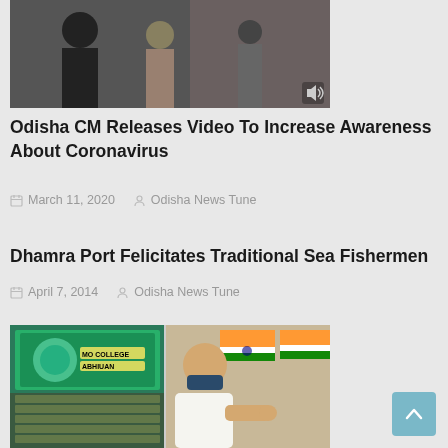[Figure (photo): Black and white photo of people, with a speaker/volume icon in the bottom right corner]
Odisha CM Releases Video To Increase Awareness About Coronavirus
March 11, 2020   Odisha News Tune
Dhamra Port Felicitates Traditional Sea Fishermen
April 7, 2014   Odisha News Tune
[Figure (photo): Two-panel composite photo: left panel shows a conference hall with a screen displaying 'MO COLLEGE ABHIYAN' text; right panel shows a man in white kurta wearing a face mask with Indian flag in background]